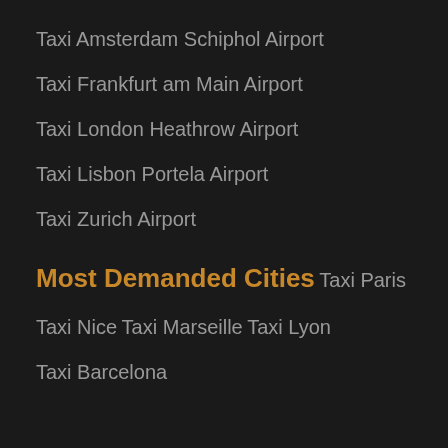Taxi Amsterdam Schiphol Airport
Taxi Frankfurt am Main Airport
Taxi London Heathrow Airport
Taxi Lisbon Portela Airport
Taxi Zurich Airport
Most Demanded Cities
Taxi Paris
Taxi Nice
Taxi Marseille
Taxi Lyon
Taxi Barcelona